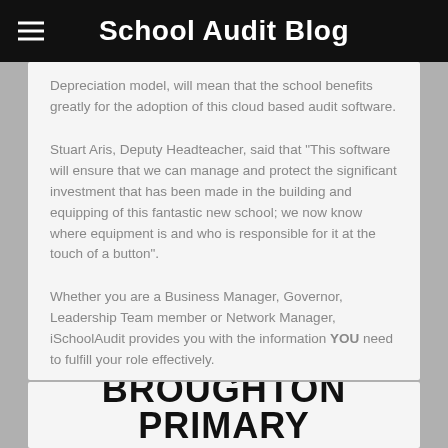School Audit Blog
Depreciation model, will mean that the school benefits greatly for the adoption of this cloud based audit software.
Stuart Aris, Deputy Headteacher, said that “This software will ensure that we can manage and protect the significant investment that has been made in the building and equipping of this fantastic new school; we now know where equipment is and who is responsible for it at the touch of a button”.
Whether you are a Business Manager, Governor, Leadership Team member or Network Manager, iSchoolAudit provides you with the information YOU need to fulfill your role effectively.
BROUGHTON PRIMARY